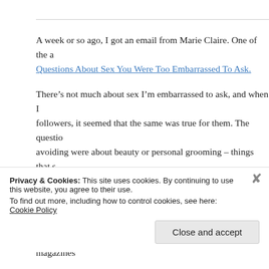A week or so ago, I got an email from Marie Claire. One of the a[rticles was about] Questions About Sex You Were Too Embarrassed To Ask.
There's not much about sex I'm embarrassed to ask, and when I [asked my] followers, it seemed that the same was true for them. The questio[ns they were] avoiding were about beauty or personal grooming – things that s[omeone is] inherently supposed to know. How to get a genuinely smooth sha[ve. Whether] hair removal to be something you have to do to your arse, as wel[l as...] we're supposed to do with products recommended by magazines[...]
I'll hazard a guess it's not just beauty that we're ashamed to talk [about, but w]hy
Privacy & Cookies: This site uses cookies. By continuing to use this website, you agree to their use.
To find out more, including how to control cookies, see here: Cookie Policy